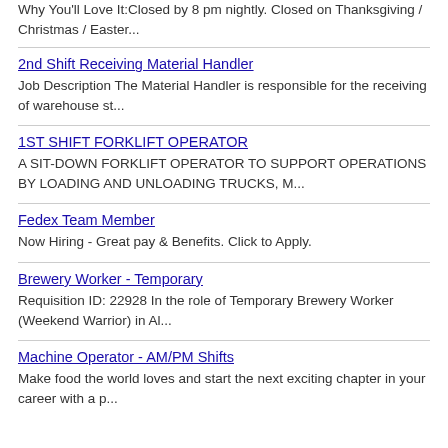Why You'll Love It:Closed by 8 pm nightly. Closed on Thanksgiving / Christmas / Easter...
2nd Shift Receiving Material Handler
Job Description The Material Handler is responsible for the receiving of warehouse st...
1ST SHIFT FORKLIFT OPERATOR
A SIT-DOWN FORKLIFT OPERATOR TO SUPPORT OPERATIONS BY LOADING AND UNLOADING TRUCKS, M...
Fedex Team Member
Now Hiring - Great pay & Benefits. Click to Apply.
Brewery Worker - Temporary
Requisition ID: 22928 In the role of Temporary Brewery Worker (Weekend Warrior) in Al...
Machine Operator - AM/PM Shifts
Make food the world loves and start the next exciting chapter in your career with a p...